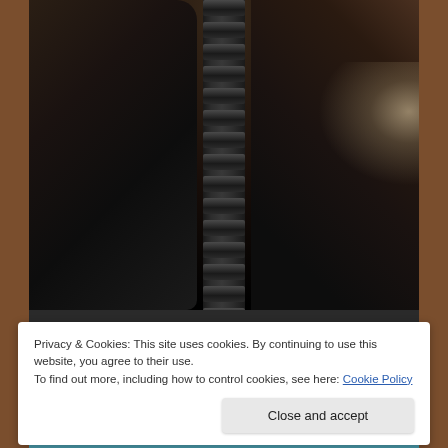[Figure (photo): A dark underground or cave scene with a large corrugated black pipe/tube running vertically through the center, surrounded by rocky dark earth walls. Light visible on the right side.]
Privacy & Cookies: This site uses cookies. By continuing to use this website, you agree to their use.
To find out more, including how to control cookies, see here: Cookie Policy
[Figure (photo): Partial view of a swimming pool or water area with blue/turquoise water visible at the bottom of the page.]